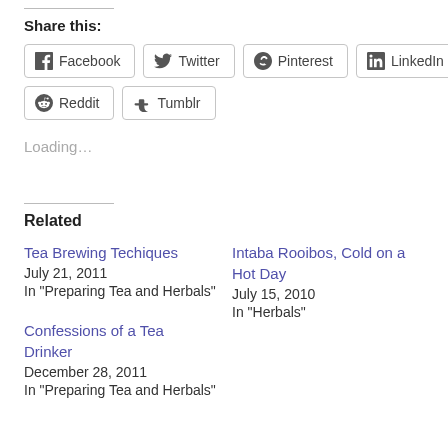Share this:
Facebook
Twitter
Pinterest
LinkedIn
Reddit
Tumblr
Loading…
Related
Tea Brewing Techiques
July 21, 2011
In "Preparing Tea and Herbals"
Intaba Rooibos, Cold on a Hot Day
July 15, 2010
In "Herbals"
Confessions of a Tea Drinker
December 28, 2011
In "Preparing Tea and Herbals"